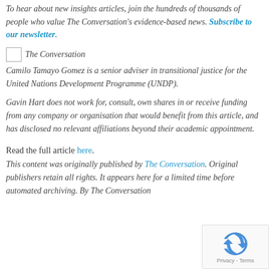To hear about new insights articles, join the hundreds of thousands of people who value The Conversation's evidence-based news. Subscribe to our newsletter.
[Figure (logo): The Conversation logo placeholder image]
Camilo Tamayo Gomez is a senior adviser in transitional justice for the United Nations Development Programme (UNDP).
Gavin Hart does not work for, consult, own shares in or receive funding from any company or organisation that would benefit from this article, and has disclosed no relevant affiliations beyond their academic appointment.
Read the full article here.
This content was originally published by The Conversation. Original publishers retain all rights. It appears here for a limited time before automated archiving. By The Conversation